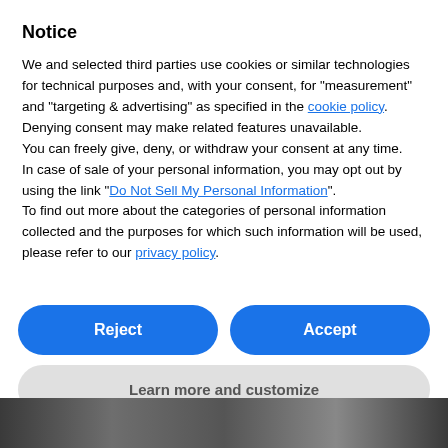Notice
We and selected third parties use cookies or similar technologies for technical purposes and, with your consent, for "measurement" and "targeting & advertising" as specified in the cookie policy. Denying consent may make related features unavailable.
You can freely give, deny, or withdraw your consent at any time.
In case of sale of your personal information, you may opt out by using the link "Do Not Sell My Personal Information".
To find out more about the categories of personal information collected and the purposes for which such information will be used, please refer to our privacy policy.
Reject
Accept
Learn more and customize
[Figure (photo): Dark grayscale photo strip at bottom of page]